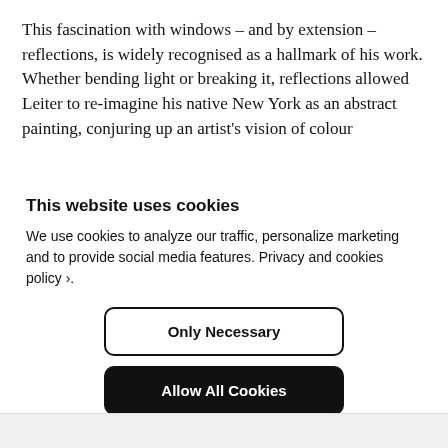This fascination with windows – and by extension – reflections, is widely recognised as a hallmark of his work. Whether bending light or breaking it, reflections allowed Leiter to re-imagine his native New York as an abstract painting, conjuring up an artist's vision of colour
This website uses cookies
We use cookies to analyze our traffic, personalize marketing and to provide social media features. Privacy and cookies policy ›.
Only Necessary
Allow All Cookies
Configure Settings ›